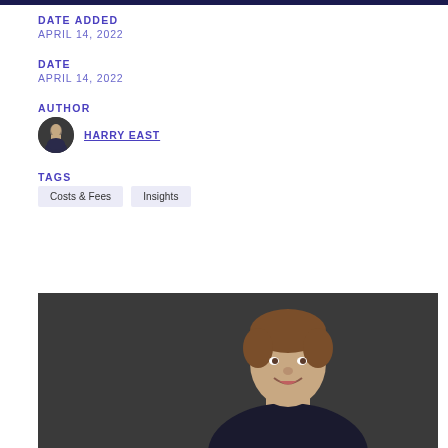DATE ADDED
APRIL 14, 2022
DATE
APRIL 14, 2022
AUTHOR
HARRY EAST
TAGS
Costs & Fees
Insights
[Figure (photo): Professional headshot of Harry East against a dark grey background, visible from shoulders up, smiling]